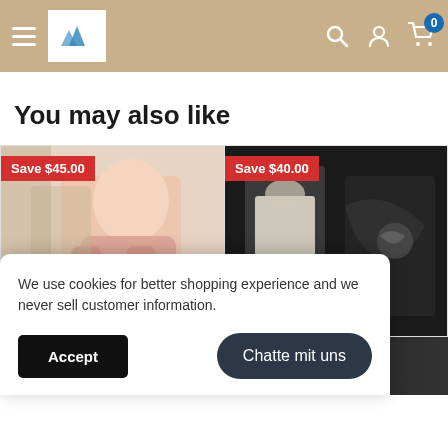Navigation header with hamburger menu, logo, search, account, and cart icons (badge: 0)
You may also like
[Figure (photo): Product card showing woman in pink sweater with Save $45.00 badge]
[Figure (photo): Product card showing dark clothing item with Save $40.00 badge]
We use cookies for better shopping experience and we never sell customer information.
Accept
Chatte mit uns